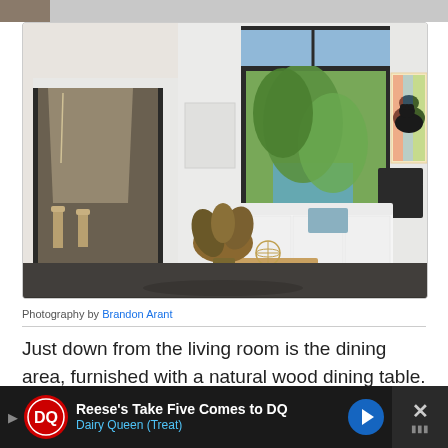[Figure (photo): Interior photo of a modern open-plan living room with white walls, dark concrete-style floors, large floor-to-ceiling glass windows/doors opening to a garden with a pool. Features a white sectional sofa, wooden bench coffee table, decorative plant, framed artwork of a bear on the right wall, and an adjacent hallway with modern lighting visible on the left.]
Photography by Brandon Arant
Just down from the living room is the dining area, furnished with a natural wood dining table.
[Figure (other): Advertisement banner: Reese's Take Five Comes to DQ — Dairy Queen (Treat)]